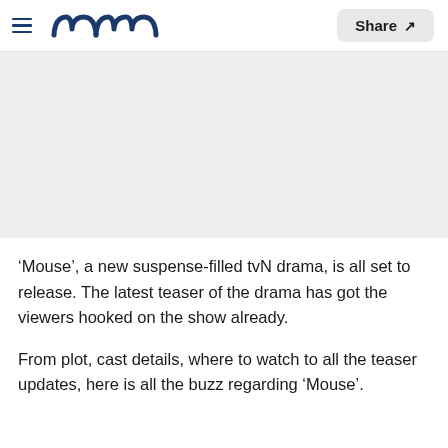Meaww — Share
[Figure (photo): Gray image placeholder area for a tvN drama 'Mouse' promotional image or screenshot]
'Mouse', a new suspense-filled tvN drama, is all set to release. The latest teaser of the drama has got the viewers hooked on the show already.
From plot, cast details, where to watch to all the teaser updates, here is all the buzz regarding 'Mouse'.